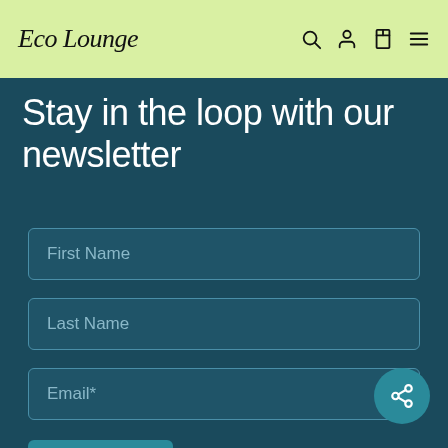Eco Lounge
Stay in the loop with our newsletter
First Name
Last Name
Email*
Submit